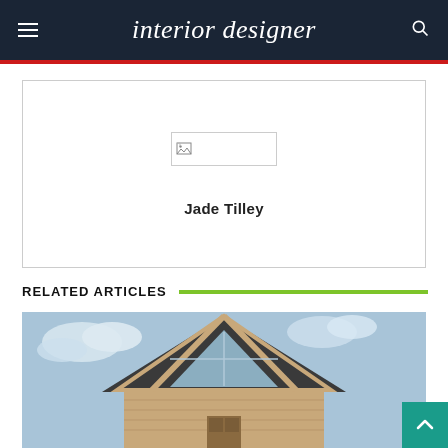interior designer
[Figure (photo): Author profile card with broken image placeholder and author name 'Jade Tilley']
Jade Tilley
RELATED ARTICLES
[Figure (photo): Exterior photo of an A-frame house with wooden siding and triangular window gable against a blue sky]